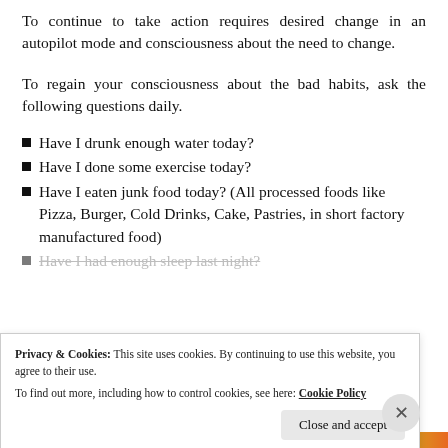To continue to take action requires desired change in an autopilot mode and consciousness about the need to change.
To regain your consciousness about the bad habits, ask the following questions daily.
Have I drunk enough water today?
Have I done some exercise today?
Have I eaten junk food today? (All processed foods like Pizza, Burger, Cold Drinks, Cake, Pastries, in short factory manufactured food)
Have I had enough sleep last night?
Privacy & Cookies: This site uses cookies. By continuing to use this website, you agree to their use. To find out more, including how to control cookies, see here: Cookie Policy